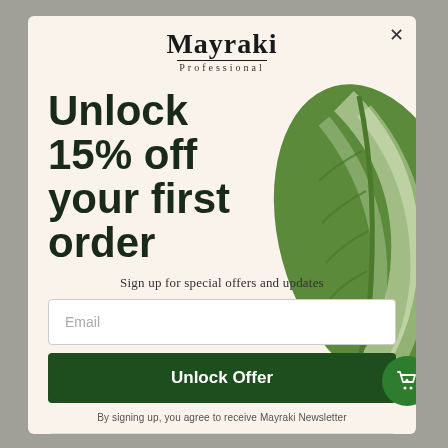[Figure (logo): Mayraki Professional logo with serif font and underline]
Unlock 15% off your first order
Sign up for special offers and updates
Email
Unlock Offer
By signing up, you agree to receive Mayraki Newsletter
No, thanks